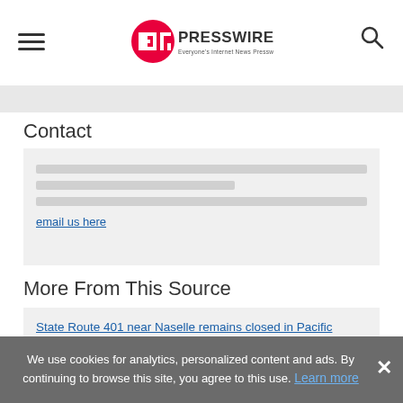EIN PRESSWIRE - Everyone's Internet News Presswire
Contact
email us here
More From This Source
State Route 401 near Naselle remains closed in Pacific County
We use cookies for analytics, personalized content and ads. By continuing to browse this site, you agree to this use. Learn more